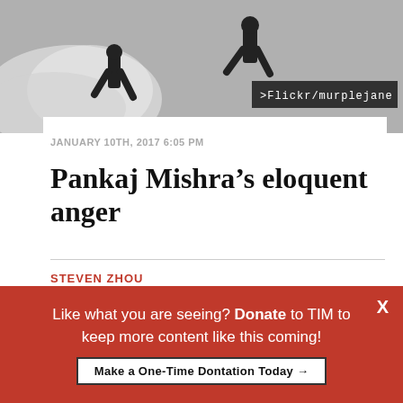[Figure (photo): Black and white photo of figures running with smoke/tear gas, with Flickr/murplejane credit overlay]
JANUARY 10TH, 2017 6:05 PM
Pankaj Mishra’s eloquent anger
STEVEN ZHOU
[Figure (other): Social media share buttons: Facebook, Twitter, LinkedIn]
PRINT THIS ARTICLE
Much has been made about how the rise of right-
Like what you are seeing? Donate to TIM to keep more content like this coming!
Make a One-Time Dontation Today →